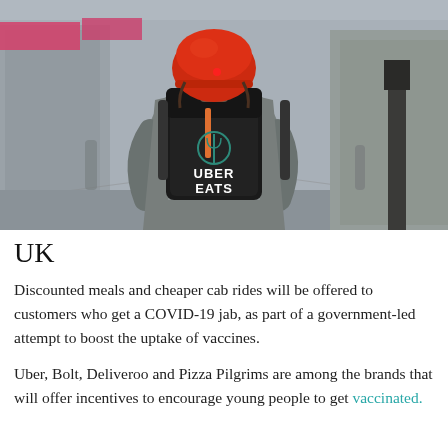[Figure (photo): A delivery rider seen from behind, wearing a red helmet and carrying a black Uber Eats insulated backpack, cycling on an empty city street.]
UK
Discounted meals and cheaper cab rides will be offered to customers who get a COVID-19 jab, as part of a government-led attempt to boost the uptake of vaccines.
Uber, Bolt, Deliveroo and Pizza Pilgrims are among the brands that will offer incentives to encourage young people to get vaccinated.